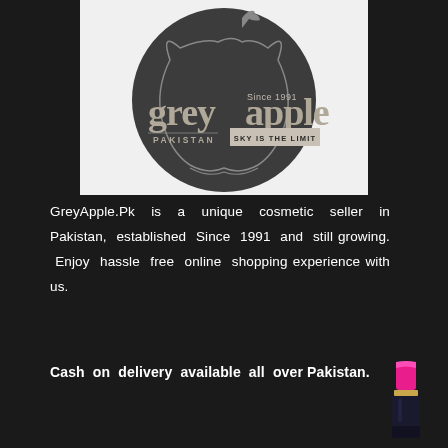[Figure (logo): Grey Apple Pakistan logo — dark circular emblem with apple silhouette, text 'grey apple', 'PAKISTAN', 'SKY IS THE LIMIT', 'Since 1991' on a light background]
GreyApple.Pk is a unique cosmetic seller in Pakistan, established Since 1991 and still growing. Enjoy hassle free online shopping experience with us.
Cash on delivery available all over Pakistan.
[Figure (illustration): Lipstick icon — pink lipstick in a gold and black case]